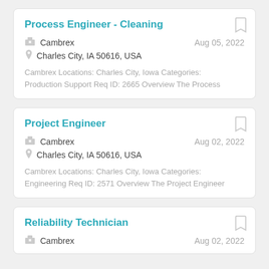Process Engineer - Cleaning
Cambrex   Aug 05, 2022
Charles City, IA 50616, USA
Cambrex Locations: Charles City, Iowa Categories: Production Support Req ID: 2665 Overview The Process
Project Engineer
Cambrex   Aug 02, 2022
Charles City, IA 50616, USA
Cambrex Locations: Charles City, Iowa Categories: Engineering Req ID: 2571 Overview The Project Engineer
Reliability Technician
Cambrex   Aug 02, 2022